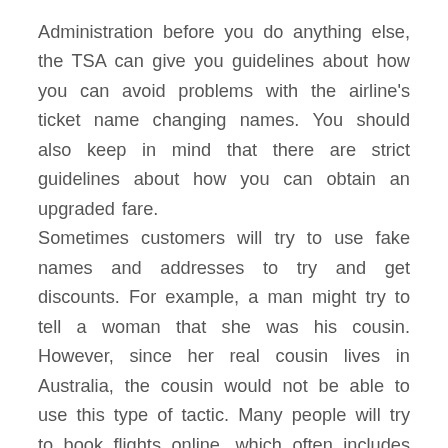Administration before you do anything else, the TSA can give you guidelines about how you can avoid problems with the airline's ticket name changing names. You should also keep in mind that there are strict guidelines about how you can obtain an upgraded fare.
Sometimes customers will try to use fake names and addresses to try and get discounts. For example, a man might try to tell a woman that she was his cousin. However, since her real cousin lives in Australia, the cousin would not be able to use this type of tactic. Many people will try to book flights online, which often includes purchasing plane tickets using fake information. Therefore, if you are interested in purchasing jetblue tickets online, it is important for you to find out everything you can about how to identify the best times to buy tickets and compare prices between various websites.